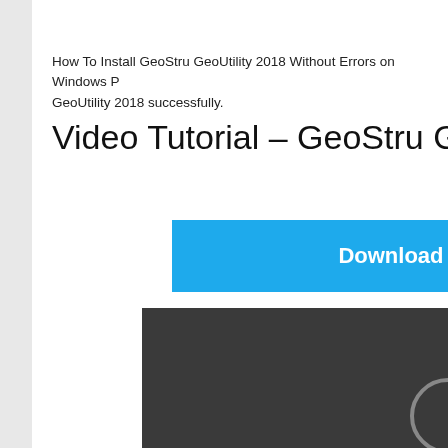How To Install GeoStru GeoUtility 2018 Without Errors on Windows PC GeoUtility 2018 successfully.
Video Tutorial – GeoStru GeoUtility 201
[Figure (screenshot): Blue download video button partially visible, with white bold text 'Download Vi']
[Figure (screenshot): Dark video player area with a partial circular play button visible at bottom right]